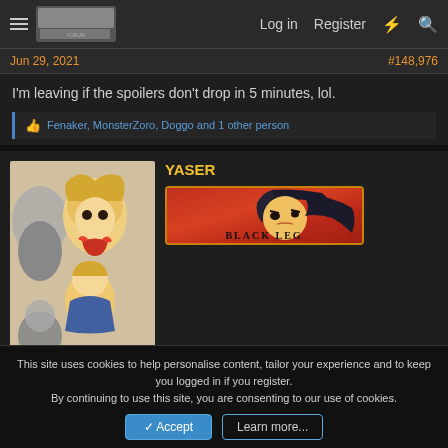Log in  Register
Jun 29, 2021    #148,976
I'm leaving if the spoilers don't drop in 5 minutes, lol.
Fenaker, MonsterZoro, Doggo and 1 other person
YASER
[Figure (illustration): Manga avatar artwork with multiple anime characters]
[Figure (illustration): BLACK LEG rank badge with anime character face]
This site uses cookies to help personalise content, tailor your experience and to keep you logged in if you register.
By continuing to use this site, you are consenting to our use of cookies.
Accept    Learn more...